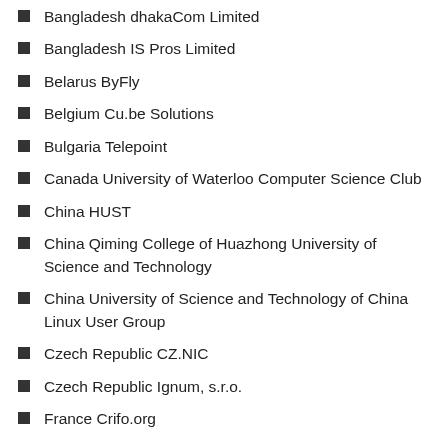Bangladesh dhakaCom Limited
Bangladesh IS Pros Limited
Belarus ByFly
Belgium Cu.be Solutions
Bulgaria Telepoint
Canada University of Waterloo Computer Science Club
China HUST
China Qiming College of Huazhong University of Science and Technology
China University of Science and Technology of China Linux User Group
Czech Republic CZ.NIC
Czech Republic Ignum, s.r.o.
France Crifo.org